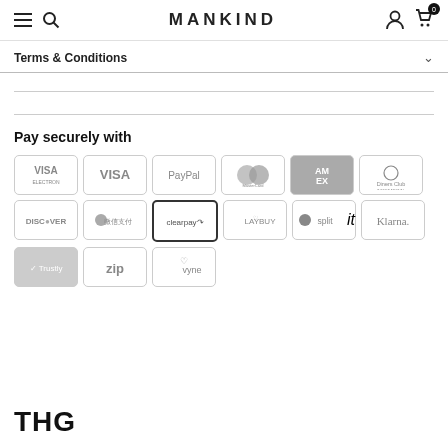MANKIND
Terms & Conditions
Pay securely with
[Figure (logo): Payment method logos: Visa Electron, Visa, PayPal, Mastercard, American Express, Diners Club International, Discover, WeChat Pay, Clearpay, Laybuy, Splitit, Klarna, Trustly, Zip, Vyne]
THG